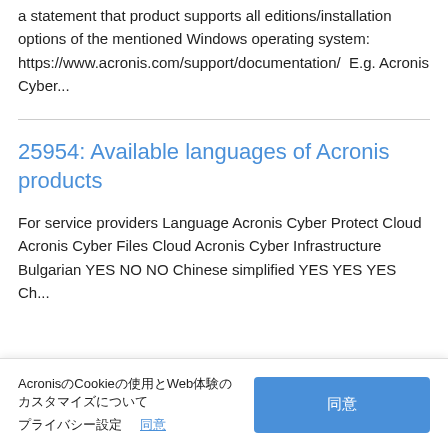a statement that product supports all editions/installation options of the mentioned Windows operating system: https://www.acronis.com/support/documentation/  E.g. Acronis Cyber...
25954: Available languages of Acronis products
For service providers Language Acronis Cyber Protect Cloud Acronis Cyber Files Cloud Acronis Cyber Infrastructure Bulgarian YES NO NO Chinese simplified YES YES YES Ch... traditional YES YES NO Czech YES...
AcronisのCookieの使用とWeb体験のカスタマイズについて
プライバシー設定　　同意